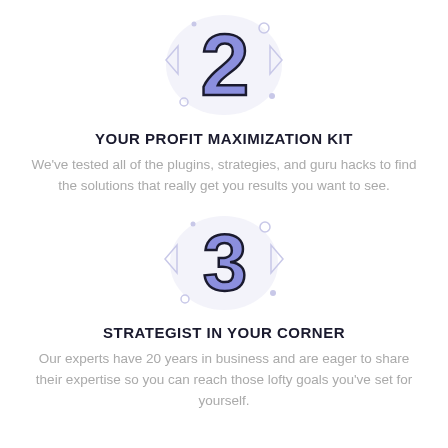[Figure (illustration): Large stylized number '2' in purple/blue with dark outline, surrounded by decorative triangles and circles on a light background]
YOUR PROFIT MAXIMIZATION KIT
We've tested all of the plugins, strategies, and guru hacks to find the solutions that really get you results you want to see.
[Figure (illustration): Large stylized number '3' in purple/blue with dark outline, surrounded by decorative triangles and circles on a light background]
STRATEGIST IN YOUR CORNER
Our experts have 20 years in business and are eager to share their expertise so you can reach those lofty goals you've set for yourself.